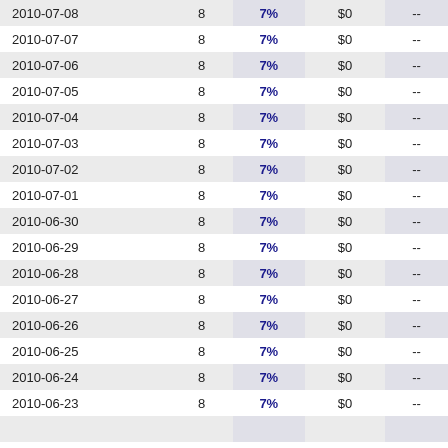| Date |  | Rate | Amount |  |
| --- | --- | --- | --- | --- |
| 2010-07-08 | 8 | 7% | $0 | -- |
| 2010-07-07 | 8 | 7% | $0 | -- |
| 2010-07-06 | 8 | 7% | $0 | -- |
| 2010-07-05 | 8 | 7% | $0 | -- |
| 2010-07-04 | 8 | 7% | $0 | -- |
| 2010-07-03 | 8 | 7% | $0 | -- |
| 2010-07-02 | 8 | 7% | $0 | -- |
| 2010-07-01 | 8 | 7% | $0 | -- |
| 2010-06-30 | 8 | 7% | $0 | -- |
| 2010-06-29 | 8 | 7% | $0 | -- |
| 2010-06-28 | 8 | 7% | $0 | -- |
| 2010-06-27 | 8 | 7% | $0 | -- |
| 2010-06-26 | 8 | 7% | $0 | -- |
| 2010-06-25 | 8 | 7% | $0 | -- |
| 2010-06-24 | 8 | 7% | $0 | -- |
| 2010-06-23 | 8 | 7% | $0 | -- |